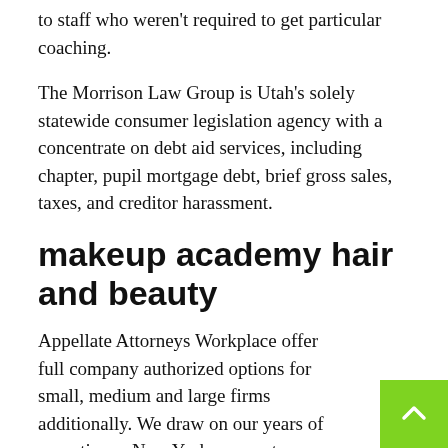to staff who weren't required to get particular coaching.
The Morrison Law Group is Utah's solely statewide consumer legislation agency with a concentrate on debt aid services, including chapter, pupil mortgage debt, brief gross sales, taxes, and creditor harassment.
makeup academy hair and beauty
Appellate Attorneys Workplace offer full company authorized options for small, medium and large firms additionally. We draw on our years of expertise as New York corporate business attorneys with in-house